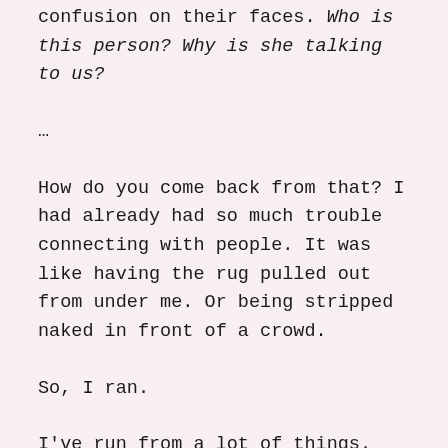confusion on their faces. Who is this person? Why is she talking to us?
…
How do you come back from that? I had already had so much trouble connecting with people. It was like having the rug pulled out from under me. Or being stripped naked in front of a crowd.
So, I ran.
I've run from a lot of things. Relationships,